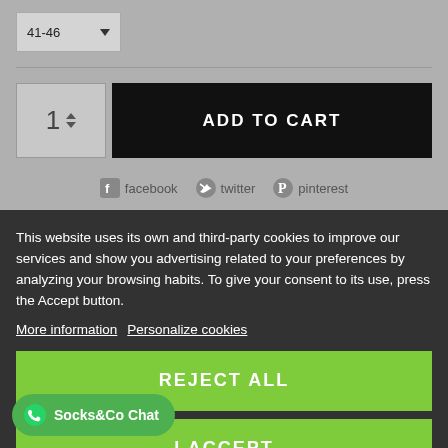41-46
1
ADD TO CART
facebook  twitter  pinterest
This website uses its own and third-party cookies to improve our services and show you advertising related to your preferences by analyzing your browsing habits. To give your consent to its use, press the Accept button.
More information  Personalize cookies
REJECT ALL
PRODUCT DETAILS
I ACCEPT
Socks&Co Chat